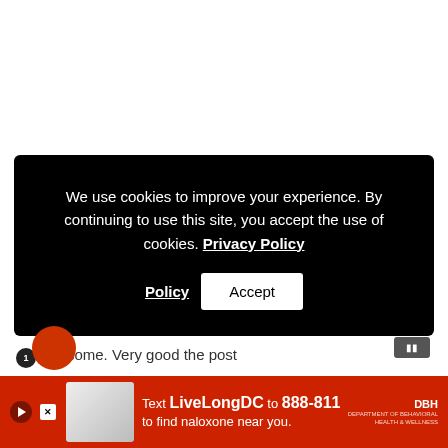We use cookies to improve your experience. By continuing to use this site, you accept the use of cookies. Privacy Policy
Accept
Awesome. Very good the post
[Figure (screenshot): Bottom advertisement banner: Text LiveLongDC to 888-811 to find naloxone near you. Red background with hand holding naloxone product.]